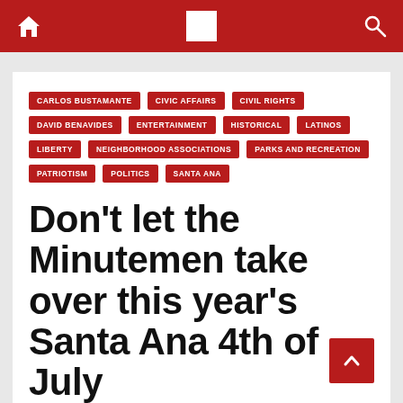Navigation bar with home icon, logo, and search icon
CARLOS BUSTAMANTE
CIVIC AFFAIRS
CIVIL RIGHTS
DAVID BENAVIDES
ENTERTAINMENT
HISTORICAL
LATINOS
LIBERTY
NEIGHBORHOOD ASSOCIATIONS
PARKS AND RECREATION
PATRIOTISM
POLITICS
SANTA ANA
Don't let the Minutemen take over this year's Santa Ana 4th of July